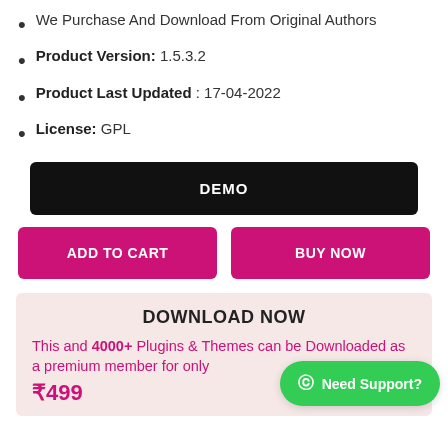We Purchase And Download From Original Authors
Product Version: 1.5.3.2
Product Last Updated : 17-04-2022
License: GPL
DEMO
ADD TO CART
BUY NOW
DOWNLOAD NOW
This and 4000+ Plugins & Themes can be Downloaded as a premium member for only ₹499
Need Support?